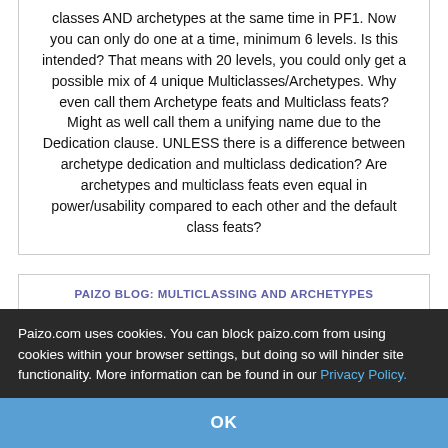classes AND archetypes at the same time in PF1. Now you can only do one at a time, minimum 6 levels. Is this intended? That means with 20 levels, you could only get a possible mix of 4 unique Multiclasses/Archetypes. Why even call them Archetype feats and Multiclass feats? Might as well call them a unifying name due to the Dedication clause. UNLESS there is a difference between archetype dedication and multiclass dedication? Are archetypes and multiclass feats even equal in power/usability compared to each other and the default class feats?
PAIZO BLOG: MULTICLASSING AND ARCHETYPES
42of19
Paizo.com uses cookies. You can block paizo.com from using cookies within your browser settings, but doing so will hinder site functionality. More information can be found in our Privacy Policy.
OK